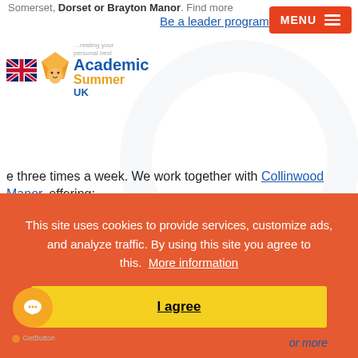Somerset, Dorset or Brayton Manor. Find more
Be a leader programme
[Figure (logo): Academic Summer UK logo with Union Jack flag and fox icon, tagline 'creating your personal best']
...three times a week. We work together with [link], offering:
Large indoor arena,
Outdoor arena,
Over 100 acres with a cross country course and show jumping
[Figure (photo): Photo of a child riding a horse/pony outdoors with trees and a building in background]
This site uses cookies to provide services, customize ads, and analyze traffic. By using this site you agree to this. More information
I agree
or more
GetButton